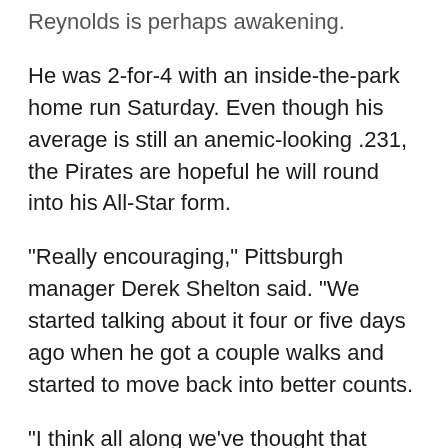Reynolds is perhaps awakening.
He was 2-for-4 with an inside-the-park home run Saturday. Even though his average is still an anemic-looking .231, the Pirates are hopeful he will round into his All-Star form.
"Really encouraging," Pittsburgh manager Derek Shelton said. "We started talking about it four or five days ago when he got a couple walks and started to move back into better counts.
"I think all along we've thought that Bryan was going to hit."